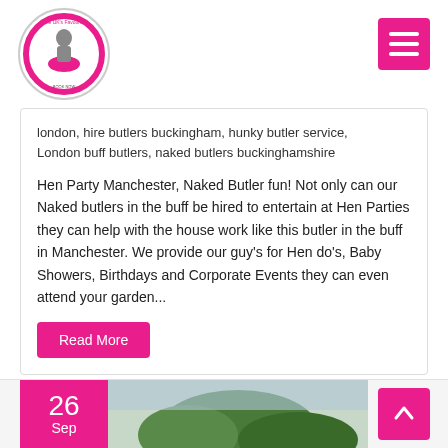[Figure (logo): Circular logo with text 'The UK's Favourite' around the edge and body silhouette in center]
london, hire butlers buckingham, hunky butler service, London buff butlers, naked butlers buckinghamshire
Hen Party Manchester, Naked Butler fun! Not only can our Naked butlers in the buff be hired to entertain at Hen Parties they can help with the house work like this butler in the buff in Manchester. We provide our guy's for Hen do's, Baby Showers, Birthdays and Corporate Events they can even attend your garden...
Read More
26
Sep